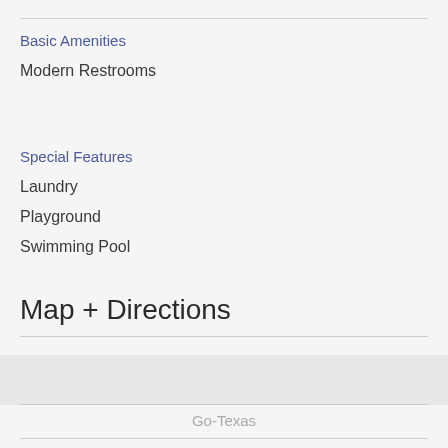Basic Amenities
Modern Restrooms
Special Features
Laundry
Playground
Swimming Pool
Map + Directions
Go-Texas